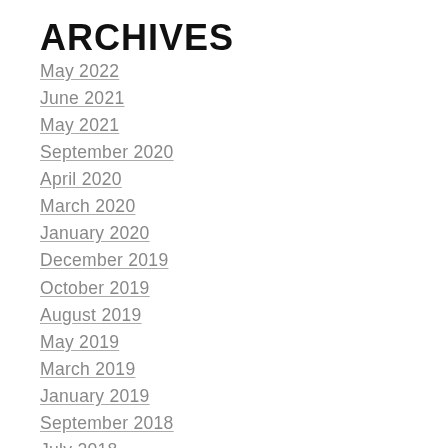ARCHIVES
May 2022
June 2021
May 2021
September 2020
April 2020
March 2020
January 2020
December 2019
October 2019
August 2019
May 2019
March 2019
January 2019
September 2018
July 2018
April 2018
September 2017